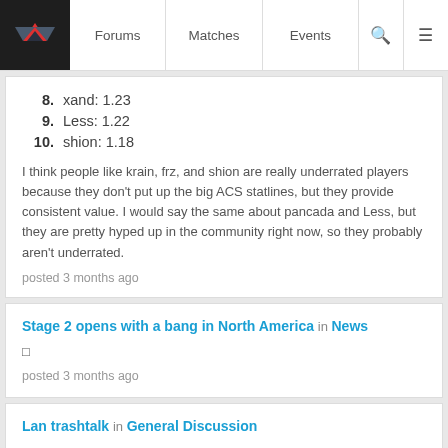Forums | Matches | Events
8. xand: 1.23
9. Less: 1.22
10. shion: 1.18
I think people like krain, frz, and shion are really underrated players because they don't put up the big ACS statlines, but they provide consistent value. I would say the same about pancada and Less, but they are pretty hyped up in the community right now, so they probably aren't underrated.
posted 3 months ago
Stage 2 opens with a bang in North America in News
posted 3 months ago
Lan trashtalk in General Discussion
They went over and shook hands afterwards and it looked really genuine. Actually talking and shaking, not the standard fist bump and ignore each other. You love to see it.